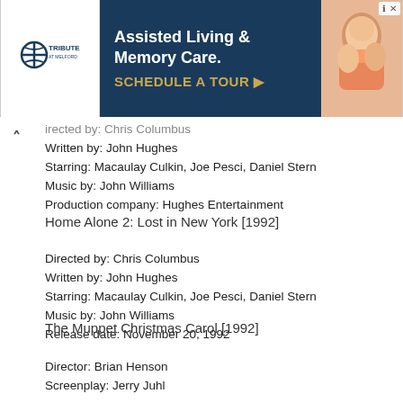[Figure (other): Advertisement banner for Tribute at Melford Assisted Living & Memory Care with logo, text, and photo of elderly people]
irected by: Chris Columbus
Written by: John Hughes
Starring: Macaulay Culkin, Joe Pesci, Daniel Stern
Music by: John Williams
Production company: Hughes Entertainment
Home Alone 2: Lost in New York [1992]
Directed by: Chris Columbus
Written by: John Hughes
Starring: Macaulay Culkin, Joe Pesci, Daniel Stern
Music by: John Williams
Release date: November 20, 1992
The Muppet Christmas Carol [1992]
Director: Brian Henson
Screenplay: Jerry Juhl